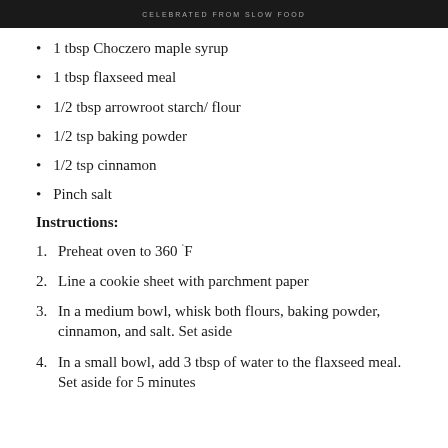CELEBRATED FROM SLOW FOOD
1 tbsp Choczero maple syrup
1 tbsp flaxseed meal
1/2 tbsp arrowroot starch/ flour
1/2 tsp baking powder
1/2 tsp cinnamon
Pinch salt
Instructions:
Preheat oven to 360 °F
Line a cookie sheet with parchment paper
In a medium bowl, whisk both flours, baking powder, cinnamon, and salt. Set aside
In a small bowl, add 3 tbsp of water to the flaxseed meal. Set aside for 5 minutes